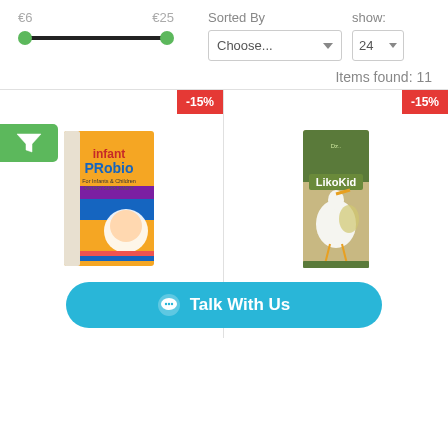€6
€25
Sorted By
show:
Choose...
24
Items found: 11
-15%
-15%
[Figure (photo): HealthAid Infant Probio product box — orange box for infants and children dietary supplement]
[Figure (photo): LikoKid product box — green box with stork illustration]
Talk With Us